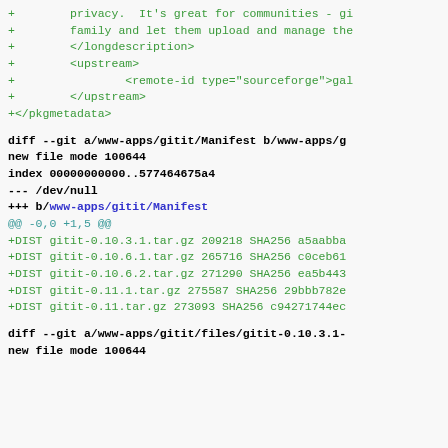+        privacy.  It's great for communities - gi
+        family and let them upload and manage the
+        </longdescription>
+        <upstream>
+                <remote-id type="sourceforge">gal
+        </upstream>
+</pkgmetadata>
diff --git a/www-apps/gitit/Manifest b/www-apps/g
new file mode 100644
index 00000000000..577464675a4
--- /dev/null
+++ b/www-apps/gitit/Manifest
@@ -0,0 +1,5 @@
+DIST gitit-0.10.3.1.tar.gz 209218 SHA256 a5aabba
+DIST gitit-0.10.6.1.tar.gz 265716 SHA256 c0ceb61
+DIST gitit-0.10.6.2.tar.gz 271290 SHA256 ea5b443
+DIST gitit-0.11.1.tar.gz 275587 SHA256 29bbb782e
+DIST gitit-0.11.tar.gz 273093 SHA256 c94271744ec
diff --git a/www-apps/gitit/files/gitit-0.10.3.1-
new file mode 100644